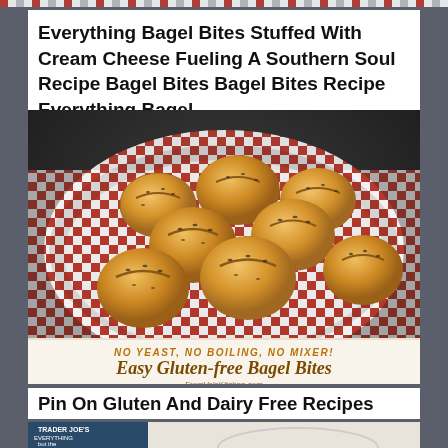Everything Bagel Bites Stuffed With Cream Cheese Fueling A Southern Soul Recipe Bagel Bites Bagel Bites Recipe Everything Bagel
[Figure (photo): Bagel bites with everything seasoning in a red and white checkered basket liner. Text overlay reads: NO YEAST, NO BOILING, NO MIXER! Easy Gluten-free Bagel Bites FromValsKitchen.com]
Pin On Gluten And Dairy Free Recipes
[Figure (photo): Partial image showing a Trader Joe's Everything But The Bagel seasoning container next to a white bowl, cropped at bottom of page]